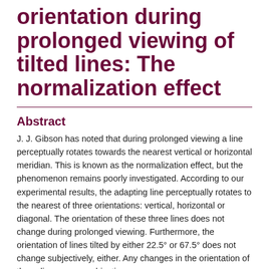orientation during prolonged viewing of tilted lines: The normalization effect
Abstract
J. J. Gibson has noted that during prolonged viewing a line perceptually rotates towards the nearest vertical or horizontal meridian. This is known as the normalization effect, but the phenomenon remains poorly investigated. According to our experimental results, the adapting line perceptually rotates to the nearest of three orientations: vertical, horizontal or diagonal. The orientation of these three lines does not change during prolonged viewing. Furthermore, the orientation of lines tilted by either 22.5° or 67.5° does not change subjectively, either. Any changes in the orientation of those lines cause subjective